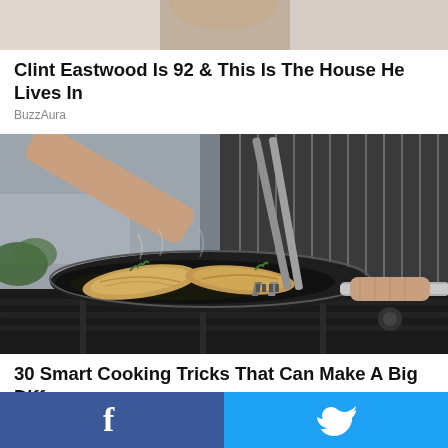[Figure (photo): Partially cropped photo of a person, likely a chef or celebrity, shot from above the shoulders]
Clint Eastwood Is 92 & This Is The House He Lives In
BuzzAura
[Figure (photo): Person in a striped apron cooking fish fillets with herbs in a dark nonstick pan on a gas stove, using metal tongs]
30 Smart Cooking Tricks That Can Make A Big Difference
alldelish.com
[Figure (photo): Partially visible bottom image, appears to show wooden or rustic background]
Facebook share button | Twitter share button